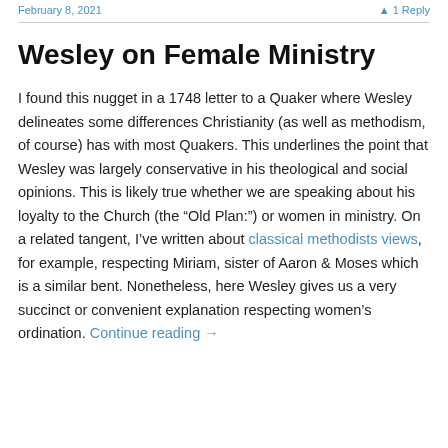February 8, 2021   1 Reply
Wesley on Female Ministry
I found this nugget in a 1748 letter to a Quaker where Wesley delineates some differences Christianity (as well as methodism, of course) has with most Quakers. This underlines the point that Wesley was largely conservative in his theological and social opinions. This is likely true whether we are speaking about his loyalty to the Church (the “Old Plan:”) or women in ministry. On a related tangent, I’ve written about classical methodists views, for example, respecting Miriam, sister of Aaron & Moses which is a similar bent. Nonetheless, here Wesley gives us a very succinct or convenient explanation respecting women’s ordination. Continue reading →